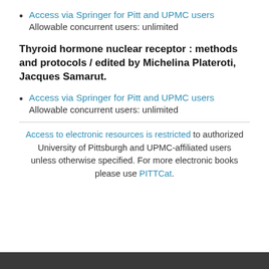Access via Springer for Pitt and UPMC users
Allowable concurrent users: unlimited
Thyroid hormone nuclear receptor : methods and protocols / edited by Michelina Plateroti, Jacques Samarut.
Access via Springer for Pitt and UPMC users
Allowable concurrent users: unlimited
Access to electronic resources is restricted to authorized University of Pittsburgh and UPMC-affiliated users unless otherwise specified. For more electronic books please use PITTCat.